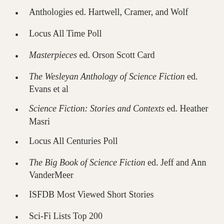Anthologies ed. Hartwell, Cramer, and Wolf
Locus All Time Poll
Masterpieces ed. Orson Scott Card
The Wesleyan Anthology of Science Fiction ed. Evans et al
Science Fiction: Stories and Contexts ed. Heather Masri
Locus All Centuries Poll
The Big Book of Science Fiction ed. Jeff and Ann VanderMeer
ISFDB Most Viewed Short Stories
Sci-Fi Lists Top 200